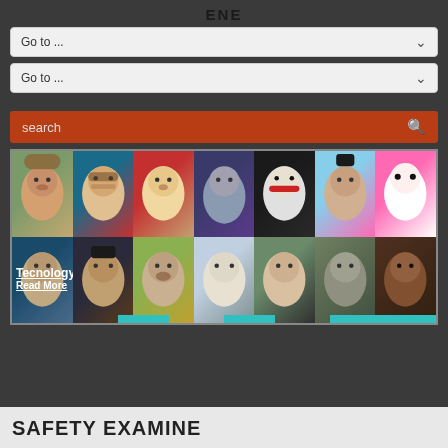ENE
Go to ...
Go to ...
search
[Figure (photo): Grid of finger puppet images styled to look like famous figures, arranged in 2 rows of 7 columns. Overlay text reads 'Tecnology' and 'Read More'.]
SAFETY EXAMINE